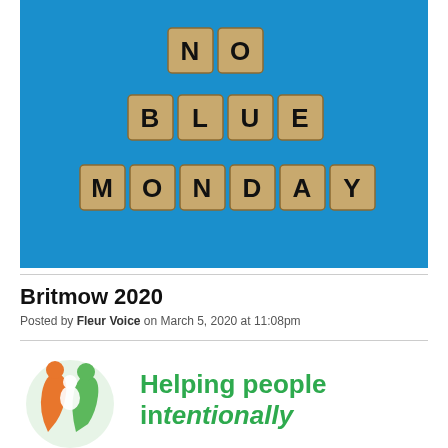[Figure (photo): Photo of wooden Scrabble-style letter tiles on a bright blue background spelling 'NO' on top row, 'BLUE' on middle row, and 'MONDAY' on bottom row.]
Britmow 2020
Posted by Fleur Voice on March 5, 2020 at 11:08pm
[Figure (logo): Organisation logo: circular icon with orange and green figures, and text 'Helping people intentionally' in green.]